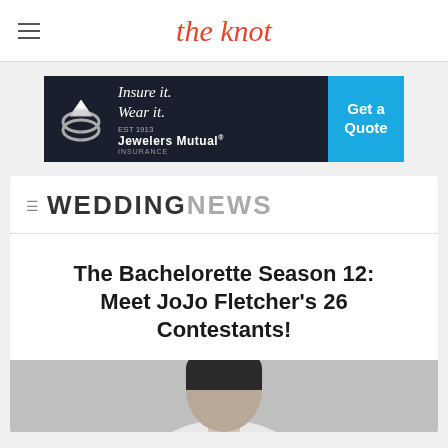the knot
[Figure (photo): Advertisement banner for Jewelers Mutual Insurance: 'Insure it. Wear it.' with a diamond ring illustration and a blue 'Get a Quote' call-to-action button]
WEDDING NEWS
The Bachelorette Season 12: Meet JoJo Fletcher's 26 Contestants!
[Figure (photo): Partial photo at bottom of page showing a person in light clothing, cropped at top of head]